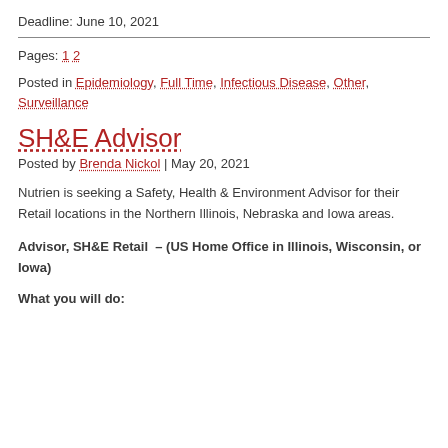Deadline: June 10, 2021
Pages: 1 2
Posted in Epidemiology, Full Time, Infectious Disease, Other, Surveillance
SH&E Advisor
Posted by Brenda Nickol | May 20, 2021
Nutrien is seeking a Safety, Health & Environment Advisor for their Retail locations in the Northern Illinois, Nebraska and Iowa areas.
Advisor, SH&E Retail – (US Home Office in Illinois, Wisconsin, or Iowa)
What you will do: